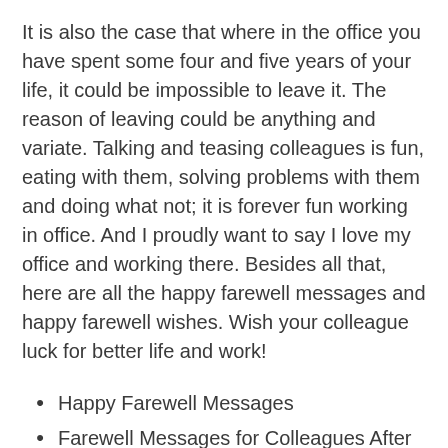It is also the case that where in the office you have spent some four and five years of your life, it could be impossible to leave it. The reason of leaving could be anything and variate. Talking and teasing colleagues is fun, eating with them, solving problems with them and doing what not; it is forever fun working in office. And I proudly want to say I love my office and working there. Besides all that, here are all the happy farewell messages and happy farewell wishes. Wish your colleague luck for better life and work!
Happy Farewell Messages
Farewell Messages for Colleagues After Resignation
Farewell Messages for Friends
Farewell Wishes for Employees